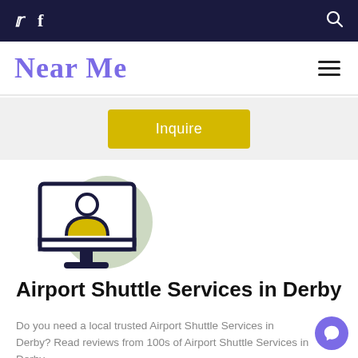Twitter, Facebook, Search icons on dark navy bar
Near Me
[Figure (screenshot): Inquire button in yellow on light gray background]
[Figure (illustration): Icon of a person at a computer/monitor with a sage green circle background]
Airport Shuttle Services in Derby
Do you need a local trusted Airport Shuttle Services in Derby? Read reviews from 100s of Airport Shuttle Services in Derby.